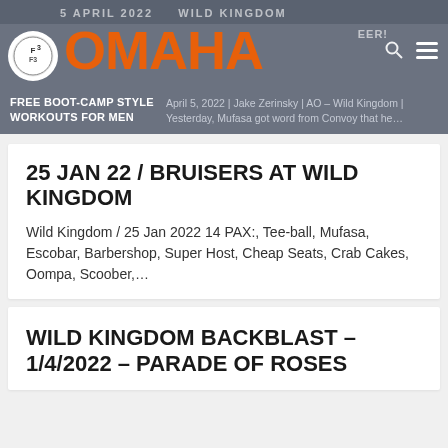5 APRIL 2022   WILD KINGDOM
[Figure (logo): F3 circular logo in white circle]
OMAHA
FREE BOOT-CAMP STYLE WORKOUTS FOR MEN
April 5, 2022 | Jake Zerinsky | AO – Wild Kingdom | Yesterday, Mufasa got word from Convoy that he...
25 JAN 22 / BRUISERS AT WILD KINGDOM
Wild Kingdom / 25 Jan 2022 14 PAX:, Tee-ball, Mufasa, Escobar, Barbershop, Super Host, Cheap Seats, Crab Cakes, Oompa, Scoober,...
WILD KINGDOM BACKBLAST - 1/4/2022 - PARADE OF ROSES